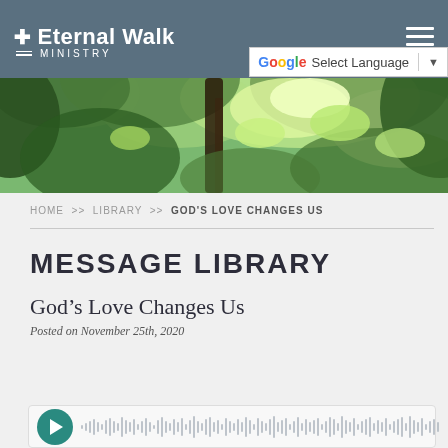✝ Eternal Walk Ministry
[Figure (photo): Looking up through green tree canopy with sunlight filtering through leaves]
HOME >> LIBRARY >> GOD'S LOVE CHANGES US
MESSAGE LIBRARY
God's Love Changes Us
Posted on November 25th, 2020
[Figure (other): Audio player with play button and waveform visualization]